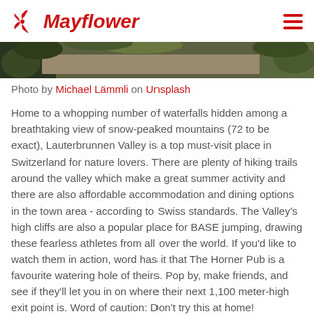Mayflower
[Figure (photo): Partial view of a scenic outdoor path or trail with green grass and foliage, appearing to be a nature scene, possibly in a Swiss or European setting. The photo is cropped at the top of the page.]
Photo by Michael Lämmli on Unsplash
Home to a whopping number of waterfalls hidden among a breathtaking view of snow-peaked mountains (72 to be exact), Lauterbrunnen Valley is a top must-visit place in Switzerland for nature lovers. There are plenty of hiking trails around the valley which make a great summer activity and there are also affordable accommodation and dining options in the town area - according to Swiss standards. The Valley's high cliffs are also a popular place for BASE jumping, drawing these fearless athletes from all over the world. If you'd like to watch them in action, word has it that The Horner Pub is a favourite watering hole of theirs. Pop by, make friends, and see if they'll let you in on where their next 1,100 meter-high exit point is. Word of caution: Don't try this at home!